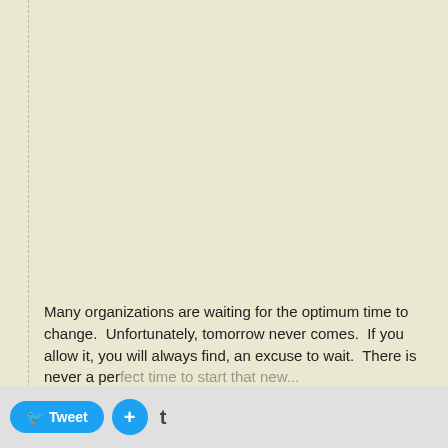Many organizations are waiting for the optimum time to change.  Unfortunately, tomorrow never comes.  If you allow it, you will always find, an excuse to wait.  There is never a perfect time to start that new...